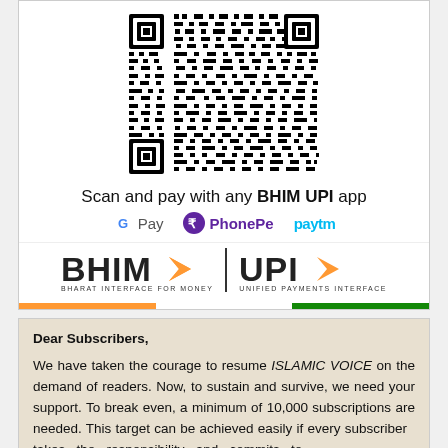[Figure (other): QR code for BHIM UPI payment with Google Pay, PhonePe, Paytm logos and BHIM UPI branding]
Dear Subscribers,
We have taken the courage to resume ISLAMIC VOICE on the demand of readers. Now, to sustain and survive, we need your support. To break even, a minimum of 10,000 subscriptions are needed. This target can be achieved easily if every subscriber takes the responsibility and commits to